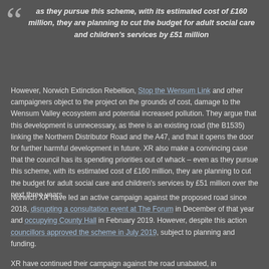as they pursue this scheme, with its estimated cost of £160 million, they are planning to cut the budget for adult social care and children's services by £51 million
However, Norwich Extinction Rebellion, Stop the Wensum Link and other campaigners object to the project on the grounds of cost, damage to the Wensum Valley ecosystem and potential increased pollution. They argue that this development is unnecessary, as there is an existing road (the B1535) linking the Northern Distributor Road and the A47, and that it opens the door for further harmful development in future. XR also make a convincing case that the council has its spending priorities out of whack – even as they pursue this scheme, with its estimated cost of £160 million, they are planning to cut the budget for adult social care and children's services by £51 million over the next three years.
Norwich XR have led an active campaign against the proposed road since 2018, disrupting a consultation event at The Forum in December of that year and occupying County Hall in February 2019. However, despite this action councillors approved the scheme in July 2019, subject to planning and funding.
XR have continued their campaign against the road unabated, in